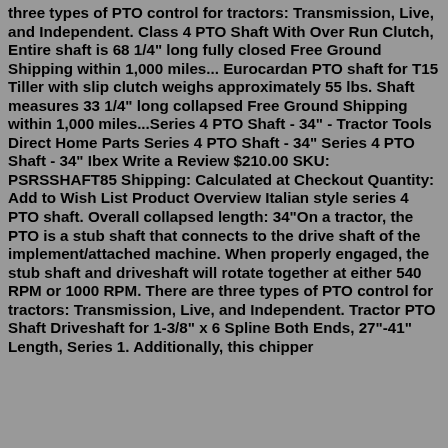three types of PTO control for tractors: Transmission, Live, and Independent. Class 4 PTO Shaft With Over Run Clutch, Entire shaft is 68 1/4" long fully closed Free Ground Shipping within 1,000 miles... Eurocardan PTO shaft for T15 Tiller with slip clutch weighs approximately 55 lbs. Shaft measures 33 1/4" long collapsed Free Ground Shipping within 1,000 miles...Series 4 PTO Shaft - 34" - Tractor Tools Direct Home Parts Series 4 PTO Shaft - 34" Series 4 PTO Shaft - 34" Ibex Write a Review $210.00 SKU: PSRSSHAFT85 Shipping: Calculated at Checkout Quantity: Add to Wish List Product Overview Italian style series 4 PTO shaft. Overall collapsed length: 34"On a tractor, the PTO is a stub shaft that connects to the drive shaft of the implement/attached machine. When properly engaged, the stub shaft and driveshaft will rotate together at either 540 RPM or 1000 RPM. There are three types of PTO control for tractors: Transmission, Live, and Independent. Tractor PTO Shaft Driveshaft for 1-3/8" x 6 Spline Both Ends, 27"-41" Length, Series 1. Additionally, this chipper